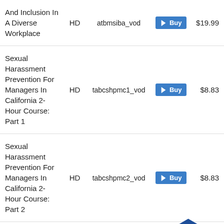| Title | Quality | Code | Action | Price |
| --- | --- | --- | --- | --- |
| And Inclusion In A Diverse Workplace | HD | atbmsiba_vod | Buy | $19.99 |
| Sexual Harassment Prevention For Managers In California 2-Hour Course: Part 1 | HD | tabcshpmc1_vod | Buy | $8.83 |
| Sexual Harassment Prevention For Managers In California 2-Hour Course: Part 2 | HD | tabcshpmc2_vod | Buy | $8.83 |
| Sexual Harassment Prevention For Managers In California 2-Hour Course: Part 3 | HD | tabcshpmc3_vod | Buy | $8.83 |